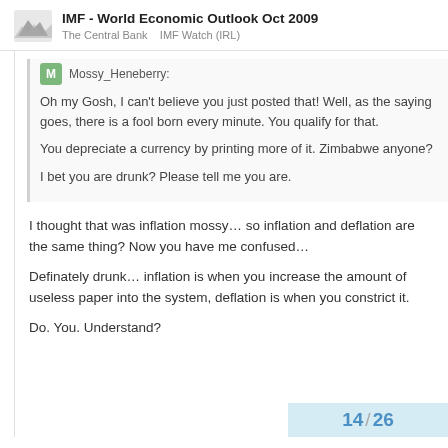IMF - World Economic Outlook Oct 2009
The Central Bank   IMF Watch (IRL)
Mossy_Heneberry:
Oh my Gosh, I can't believe you just posted that! Well, as the saying goes, there is a fool born every minute. You qualify for that.

You depreciate a currency by printing more of it. Zimbabwe anyone?

I bet you are drunk? Please tell me you are.
I thought that was inflation mossy… so inflation and deflation are the same thing? Now you have me confused…
Definately drunk… inflation is when you increase the amount of useless paper into the system, deflation is when you constrict it.
Do. You. Understand?
14 / 26